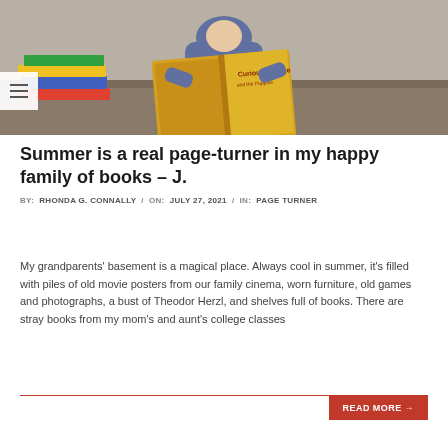[Figure (photo): A young child sitting on a bench near a window, reading a large yellow 'Curious George' book, with stacks of other colorful books nearby.]
Summer is a real page-turner in my happy family of books – J.
BY: RHONDA G. CONNALLY / ON: JULY 27, 2021 / IN: PAGE TURNER
My grandparents' basement is a magical place. Always cool in summer, it's filled with piles of old movie posters from our family cinema, worn furniture, old games and photographs, a bust of Theodor Herzl, and shelves full of books. There are stray books from my mom's and aunt's college classes